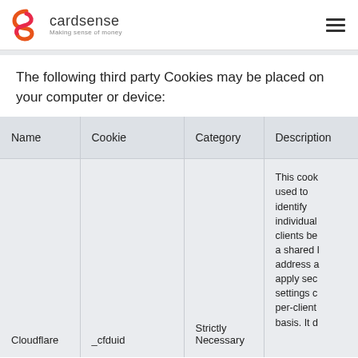cardsense — making sense of money
The following third party Cookies may be placed on your computer or device:
| Name | Cookie | Category | Description |
| --- | --- | --- | --- |
| Cloudflare | _cfduid | Strictly Necessary | This cook used to identify individual clients be a shared I address a apply sec settings c per-client basis. It d |